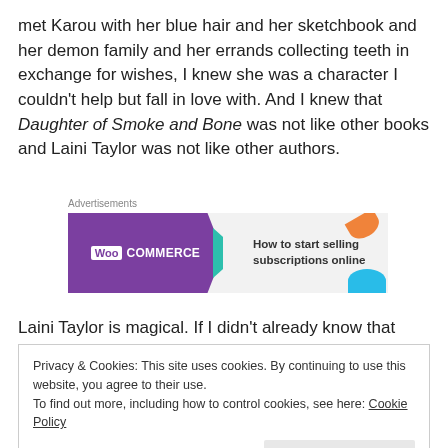met Karou with her blue hair and her sketchbook and her demon family and her errands collecting teeth in exchange for wishes, I knew she was a character I couldn't help but fall in love with. And I knew that Daughter of Smoke and Bone was not like other books and Laini Taylor was not like other authors.
Advertisements
[Figure (other): WooCommerce advertisement banner: purple left panel with WooCommerce logo, green arrow, right panel with text 'How to start selling subscriptions online' and decorative orange and blue shapes.]
Laini Taylor is magical. If I didn't already know that from
Privacy & Cookies: This site uses cookies. By continuing to use this website, you agree to their use.
To find out more, including how to control cookies, see here: Cookie Policy
Close and accept
Bone came to her as the story of Karou arguing with